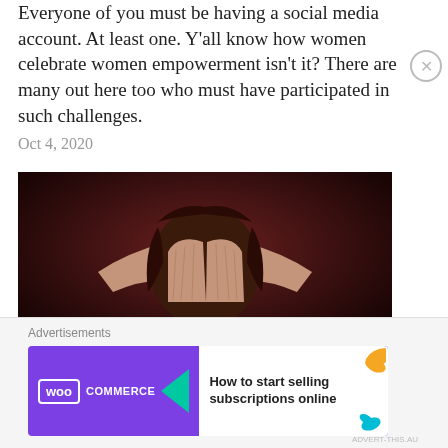Everyone of you must be having a social media account. At least one. Y'all know how women celebrate women empowerment isn't it? There are many out here too who must have participated in such challenges.
Oct 4, 2020
[Figure (photo): A woman with dark hair covering her face with both hands, photographed against a dark red/brown background in a dramatic, emotional pose. The image is sepia/dark toned.]
Mixed Feelings!
May 2, 2020
Advertisements
[Figure (other): WooCommerce advertisement banner: purple background with WooCommerce logo, green arrow, and text 'How to start selling subscriptions online'. Decorative orange and teal leaf shapes on right side.]